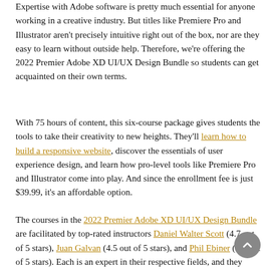Expertise with Adobe software is pretty much essential for anyone working in a creative industry. But titles like Premiere Pro and Illustrator aren't precisely intuitive right out of the box, nor are they easy to learn without outside help. Therefore, we're offering the 2022 Premier Adobe XD UI/UX Design Bundle so students can get acquainted on their own terms.
With 75 hours of content, this six-course package gives students the tools to take their creativity to new heights. They'll learn how to build a responsive website, discover the essentials of user experience design, and learn how pro-level tools like Premiere Pro and Illustrator come into play. And since the enrollment fee is just $39.99, it's an affordable option.
The courses in the 2022 Premier Adobe XD UI/UX Design Bundle are facilitated by top-rated instructors Daniel Walter Scott (4.7 out of 5 stars), Juan Galvan (4.5 out of 5 stars), and Phil Ebiner (4.6 out of 5 stars). Each is an expert in their respective fields, and they have collectively amassed many